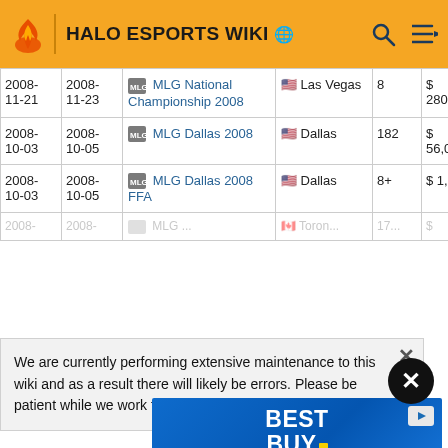HALO ESPORTS WIKI
| Start | End | Event | Location | Teams | Prize |
| --- | --- | --- | --- | --- | --- |
| 2008-11-21 | 2008-11-23 | MLG National Championship 2008 | Las Vegas | 8 | $ 280, |
| 2008-10-03 | 2008-10-05 | MLG Dallas 2008 | Dallas | 182 | $ 56,0 |
| 2008-10-03 | 2008-10-05 | MLG Dallas 2008 FFA | Dallas | 8+ | $ 1,0 |
| 2008-... | 2008-... | MLG ... | Toronto | 17... | $ |
We are currently performing extensive maintenance to this wiki and as a result there will likely be errors. Please be patient while we work to fix all problems.
[Figure (infographic): Best Buy advertisement banner with blue gradient background, white bold text 'BEST BUY.' with yellow dot]
| Start | End | Event | Location | Teams | Prize |
| --- | --- | --- | --- | --- | --- |
| 2008- | 2008- | MLG San | San | 192 | 56,0 |
| 04-11 | 04-13 | Meadowlands | Secaucus |  | $ 56,0 |